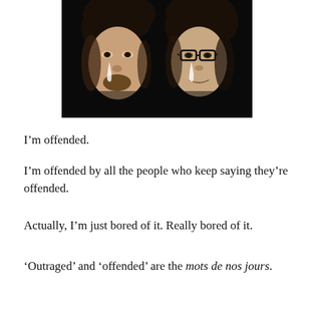[Figure (photo): Two men with curly dark hair against a black background, both with tears or water droplets on their faces. The man on the left has a beard; the man on the right wears dark-rimmed glasses.]
I’m offended.
I’m offended by all the people who keep saying they’re offended.
Actually, I’m just bored of it. Really bored of it.
‘Outraged’ and ‘offended’ are the mots de nos jours.